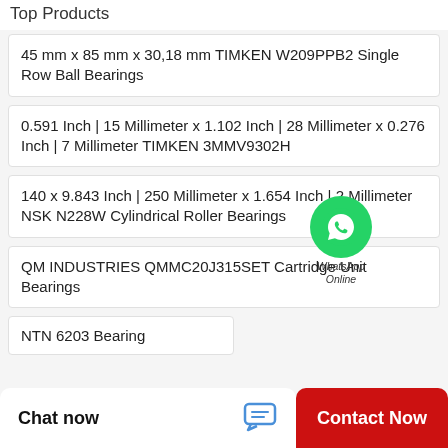Top Products
45 mm x 85 mm x 30,18 mm TIMKEN W209PPB2 Single Row Ball Bearings
0.591 Inch | 15 Millimeter x 1.102 Inch | 28 Millimeter x 0.276 Inch | 7 Millimeter TIMKEN 3MMV9302H
140 x 9.843 Inch | 250 Millimeter x 1.654 Inch | 42 Millimeter NSK N228W Cylindrical Roller Bearings
QM INDUSTRIES QMMC20J315SET Cartridge Unit Bearings
NTN 6203 Bearing
[Figure (logo): WhatsApp Online green circle badge with phone icon and italic text 'WhatsApp Online']
Chat now
Contact Now